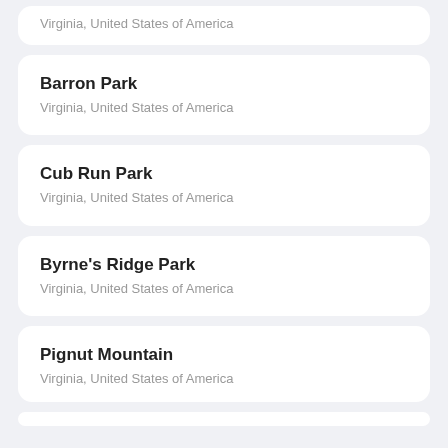Virginia, United States of America
Barron Park
Virginia, United States of America
Cub Run Park
Virginia, United States of America
Byrne's Ridge Park
Virginia, United States of America
Pignut Mountain
Virginia, United States of America